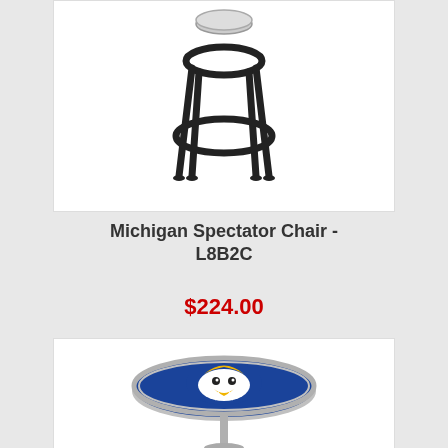[Figure (photo): Black metal bar stool/spectator chair with circular footrest ring, viewed from front, on white background]
Michigan Spectator Chair - L8B2C
$224.00
[Figure (photo): Round bar table with chrome pedestal base, top featuring Nashville Predators NHL team logo on blue background]